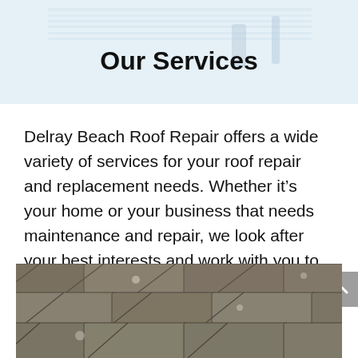[Figure (photo): Background photo of rooftop with workers, light blue tint, partially visible at top of page]
Our Services
Delray Beach Roof Repair offers a wide variety of services for your roof repair and replacement needs. Whether it’s your home or your business that needs maintenance and repair, we look after your best interests and work with you to get the job done right.
[Figure (photo): Close-up photo of weathered/aged gray roof shingles, partially visible at bottom of page]